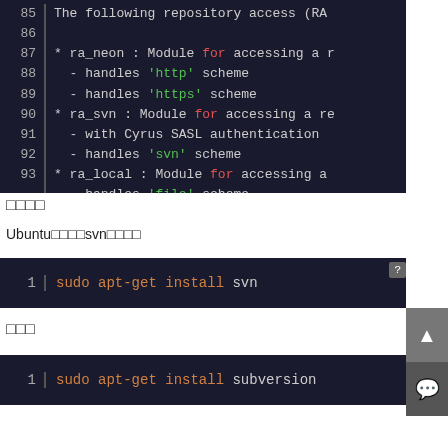[Figure (screenshot): Code block showing lines 85-93 of a source file listing repository access modules: ra_neon (http/https), ra_svn (svn with Cyrus SASL), ra_local (file)]
安装
Ubuntu下安装svn客户端：
[Figure (screenshot): Code block line 1: sudo apt-get install svn]
服务端
[Figure (screenshot): Code block line 1: sudo apt-get install subversion (partially visible)]